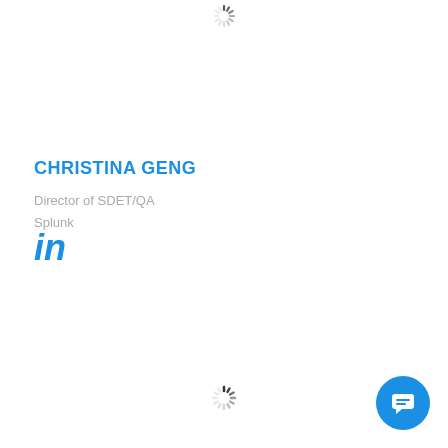[Figure (infographic): Loading spinner (animated dashes in a circle) near top center of page]
CHRISTINA GENG
Director of SDET/QA
Splunk
[Figure (logo): LinkedIn 'in' logo in blue]
[Figure (infographic): Loading spinner (animated dashes in a circle) near bottom center of page]
[Figure (infographic): Blue circular chat button with speech bubble icon in bottom right corner]